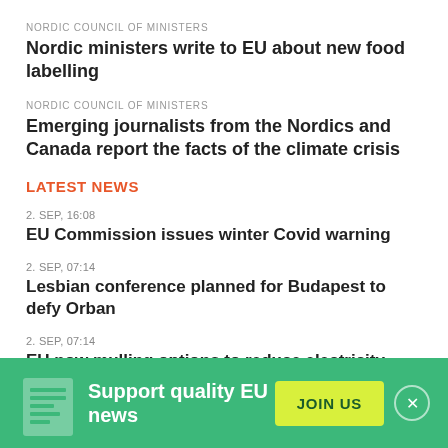NORDIC COUNCIL OF MINISTERS
Nordic ministers write to EU about new food labelling
NORDIC COUNCIL OF MINISTERS
Emerging journalists from the Nordics and Canada report the facts of the climate crisis
LATEST NEWS
2. SEP, 16:08
EU Commission issues winter Covid warning
2. SEP, 07:14
Lesbian conference planned for Budapest to defy Orban
2. SEP, 07:14
EU now mulling options to reduce electricity demand
Support quality EU news